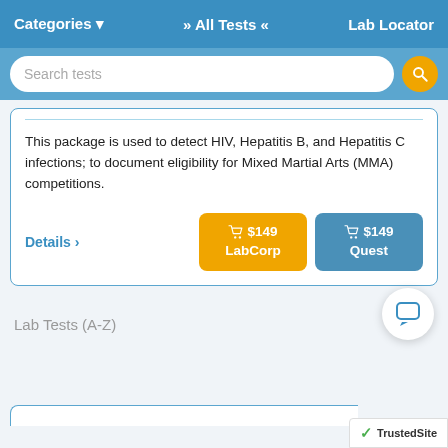Categories ▾   » All Tests «   Lab Locator
Search tests
This package is used to detect HIV, Hepatitis B, and Hepatitis C infections; to document eligibility for Mixed Martial Arts (MMA) competitions.
Details ›
🛒 $149 LabCorp
🛒 $149 Quest
Lab Tests (A-Z)